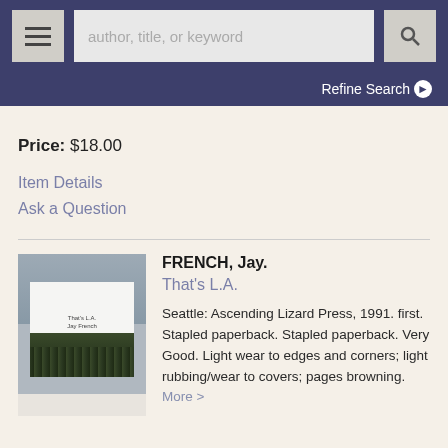author, title, or keyword | Refine Search
Price: $18.00
Item Details
Ask a Question
FRENCH, Jay.
That's L.A.
Seattle: Ascending Lizard Press, 1991. first. Stapled paperback. Stapled paperback. Very Good. Light wear to edges and corners; light rubbing/wear to covers; pages browning. More >
[Figure (photo): Book cover thumbnail of 'That's L.A.' by Jay French, showing a white cover with a black-and-white photograph of trees/foliage at the bottom, standing upright on a surface.]